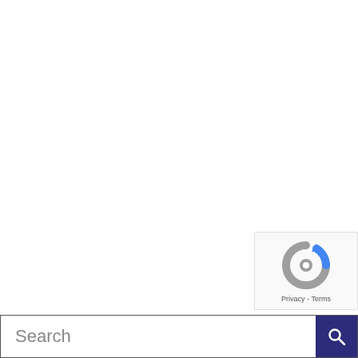[Figure (screenshot): reCAPTCHA badge widget showing the reCAPTCHA logo (blue and grey arrow circle) with 'Privacy - Terms' text below, positioned in the bottom-right corner]
Search